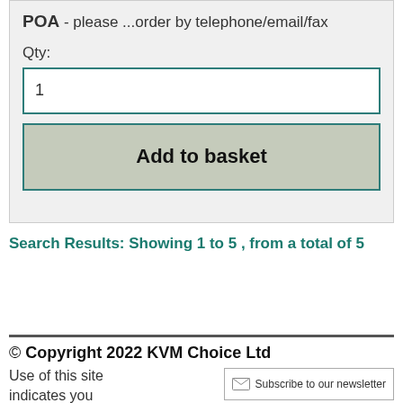POA - please ...order by telephone/email/fax
Qty:
1
Add to basket
Search Results: Showing 1 to 5 , from a total of 5
© Copyright 2022 KVM Choice Ltd
Use of this site indicates you
Subscribe to our newsletter